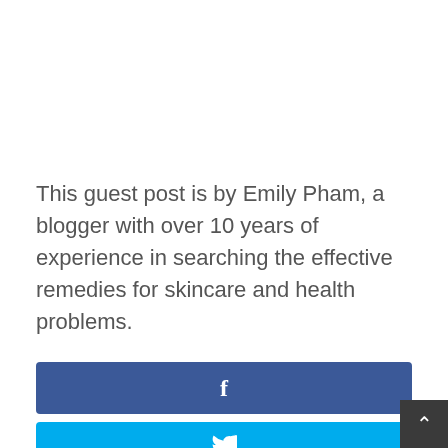This guest post is by Emily Pham, a blogger with over 10 years of experience in searching the effective remedies for skincare and health problems.
[Figure (other): Facebook share button — dark blue rectangle with white 'f' icon]
[Figure (other): Twitter share button — sky blue rectangle with white bird icon]